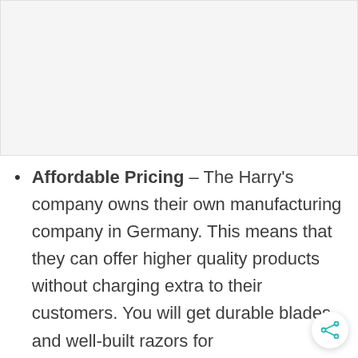[Figure (photo): Placeholder image area, light gray background]
Affordable Pricing – The Harry's company owns their own manufacturing company in Germany. This means that they can offer higher quality products without charging extra to their customers. You will get durable blades and well-built razors for